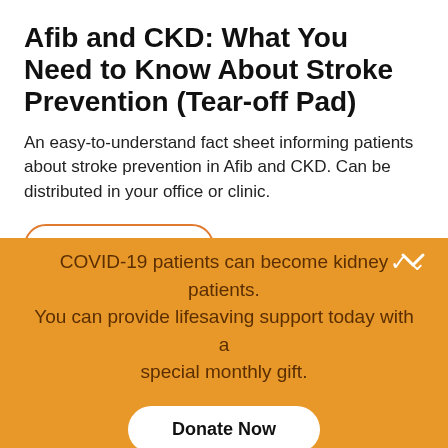Afib and CKD: What You Need to Know About Stroke Prevention (Tear-off Pad)
An easy-to-understand fact sheet informing patients about stroke prevention in Afib and CKD. Can be distributed in your office or clinic.
Access this tool
COVID-19 patients can become kidney patients. You can provide lifesaving support today with a special monthly gift.
Donate Now